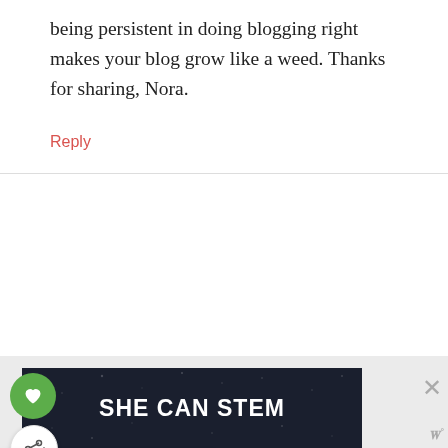being persistent in doing blogging right makes your blog grow like a weed. Thanks for sharing, Nora.
Reply
Leave a Comment
[Figure (infographic): WHAT'S NEXT arrow label with Financial Case Study: Conn... text and a circular avatar photo of a woman]
[Figure (infographic): Advertisement banner with dark background reading SHE CAN STEM with a close X button and WordPress logo]